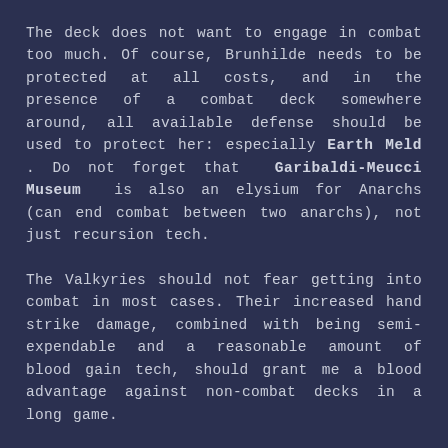The deck does not want to engage in combat too much. Of course, Brunhilde needs to be protected at all costs, and in the presence of a combat deck somewhere around, all available defense should be used to protect her: especially Earth Meld . Do not forget that Garibaldi-Meucci Museum is also an elysium for Anarchs (can end combat between two anarchs), not just recursion tech.
The Valkyries should not fear getting into combat in most cases. Their increased hand strike damage, combined with being semi-expendable and a reasonable amount of blood gain tech, should grant me a blood advantage against non-combat decks in a long game.
Backbone Cards